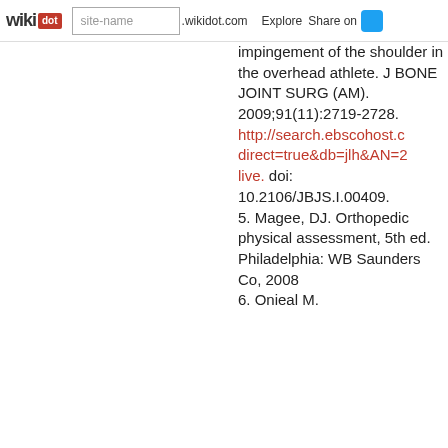wikidot | site-name .wikidot.com | Explore | Share on [Twitter]
impingement of the shoulder in the overhead athlete. J BONE JOINT SURG (AM). 2009;91(11):2719-2728. http://search.ebscohost.com/... direct=true&db=jlh&AN=2... live. doi: 10.2106/JBJS.I.00409. 5. Magee, DJ. Orthopedic physical assessment, 5th ed. Philadelphia: WB Saunders Co, 2008 6. Onieal M.